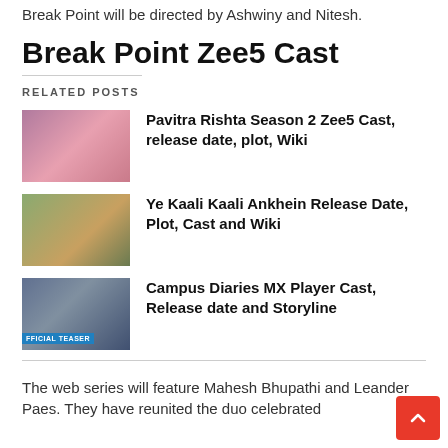Break Point will be directed by Ashwiny and Nitesh.
Break Point Zee5 Cast
RELATED POSTS
[Figure (photo): Promotional image for Pavitra Rishta Season 2, couple in pink/purple tones]
Pavitra Rishta Season 2 Zee5 Cast, release date, plot, Wiki
[Figure (photo): Promotional image for Ye Kaali Kaali Ankhein, romantic outdoor scene in earthy tones]
Ye Kaali Kaali Ankhein Release Date, Plot, Cast and Wiki
[Figure (photo): Official Teaser image for Campus Diaries MX Player, poster collage with blue teaser banner]
Campus Diaries MX Player Cast, Release date and Storyline
The web series will feature Mahesh Bhupathi and Leander Paes. They have reunited the duo celebrated